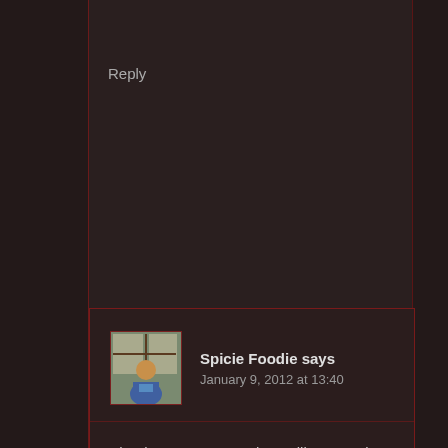Reply
Spicie Foodie says
January 9, 2012 at 13:40
Thank you! Me too, I do not like sugar in my coffee or tea. So when I do crave a sweetener it has to be something like this. I just finished the book and need to get the last one. I really love them :)